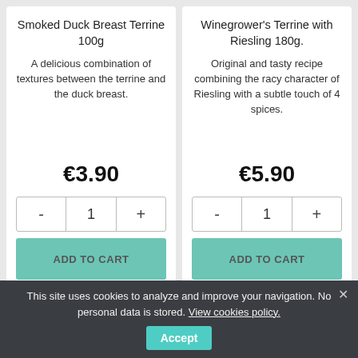Smoked Duck Breast Terrine 100g
A delicious combination of textures between the terrine and the duck breast.
€3.90
Winegrower's Terrine with Riesling 180g.
Original and tasty recipe combining the racy character of Riesling with a subtle touch of 4 spices.
€5.90
This site uses cookies to analyze and improve your navigation. No personal data is stored. View cookies policy.